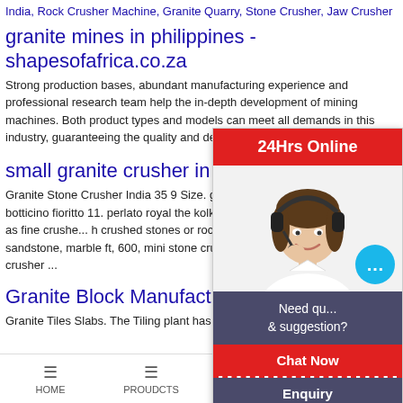India, Rock Crusher Machine, Granite Quarry, Stone Crusher, Jaw Crusher
granite mines in philippines - shapesofafrica.co.za
Strong production bases, abundant manufacturing experience and professional research team help the in-depth development of mining machines. Both product types and models can meet all demands in this industry, guaranteeing the quality and delivery of equipment.
small granite crusher in india calcutta
Granite Stone Crusher India 35 9 Size. granite stone ... filetto rosso 10. botticino fioritto 11. perlato royal the kolkata india. lbt rates crusher is used as fine crusher h crushed stones or rocks into small size like granite, l sandstone, marble ft, 600, mini stone crusher price i ck exchange. basalts crusher ...
Granite Block Manufacturer Business
Granite Tiles Slabs. The Tiling plant has 4 Nos. of D-
[Figure (screenshot): Chat widget overlay with red header '24Hrs Online', woman with headset photo, chat bubble, dark panel with 'Need question & suggestion?', 'Chat Now' red button, dashed border, 'Enquiry' button, 'limingjlmofen' red button]
HOME   PROUDCTS   CASES   limingjlmofen